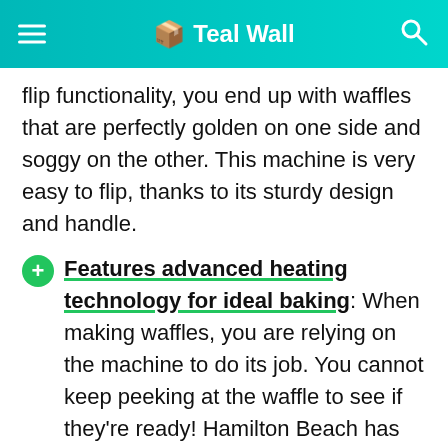🧡 Teal Wall
flip functionality, you end up with waffles that are perfectly golden on one side and soggy on the other. This machine is very easy to flip, thanks to its sturdy design and handle.
Features advanced heating technology for ideal baking: When making waffles, you are relying on the machine to do its job. You cannot keep peeking at the waffle to see if they're ready! Hamilton Beach has added an advanced heating technology to their best waffle maker.